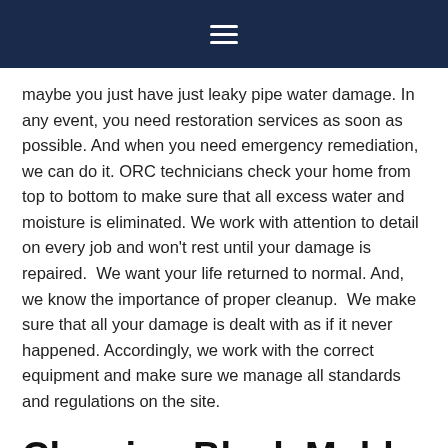navigation bar with hamburger menu
maybe you just have just leaky pipe water damage. In any event, you need restoration services as soon as possible. And when you need emergency remediation, we can do it. ORC technicians check your home from top to bottom to make sure that all excess water and moisture is eliminated. We work with attention to detail on every job and won't rest until your damage is repaired.  We want your life returned to normal. And, we know the importance of proper cleanup.  We make sure that all your damage is dealt with as if it never happened. Accordingly, we work with the correct equipment and make sure we manage all standards and regulations on the site.
Cleaning Black Mold
The most common mistake people make with black mold is